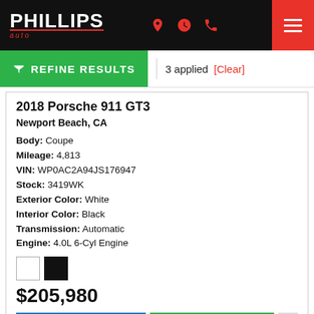PHILLIPS AUTO — Navigation header with logo, location/hours/phone icons, and hamburger menu
REFINE RESULTS — 3 applied [Clear]
2018 Porsche 911 GT3
Newport Beach, CA
Body: Coupe
Mileage: 4,813
VIN: WP0AC2A94JS176947
Stock: 3419WK
Exterior Color: White
Interior Color: Black
Transmission: Automatic
Engine: 4.0L 6-Cyl Engine
[Figure (illustration): White and black color swatches]
$205,980
GET MORE INFO | SAVE